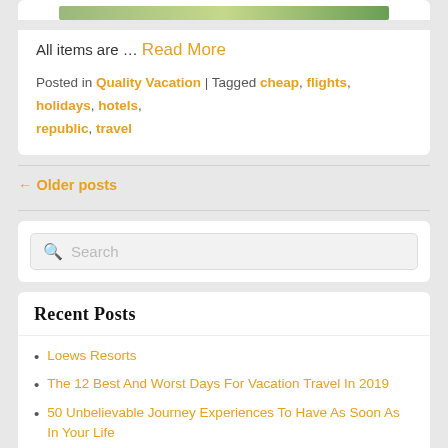[Figure (photo): Partial scenic image showing greenery/nature at the top of the card]
All items are … Read More
Posted in Quality Vacation | Tagged cheap, flights, holidays, hotels, republic, travel
← Older posts
Search
Recent Posts
Loews Resorts
The 12 Best And Worst Days For Vacation Travel In 2019
50 Unbelievable Journey Experiences To Have As Soon As In Your Life
Journey Management Solutions
Trip Packages